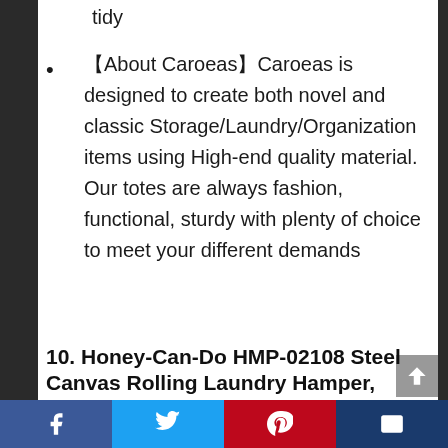tidy
【About Caroeas】Caroeas is designed to create both novel and classic Storage/Laundry/Organization items using High-end quality material. Our totes are always fashion, functional, sturdy with plenty of choice to meet your different demands
10. Honey-Can-Do HMP-02108 Steel Canvas Rolling Laundry Hamper,
Facebook Twitter Pinterest Email